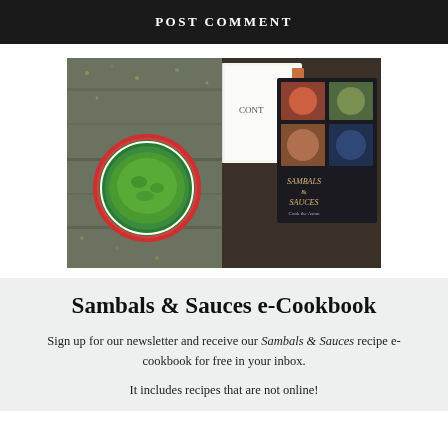Post Comment
[Figure (photo): Overhead photo showing a bowl of green sambal/paste on a wooden table with herbs scattered around, beside an open cookbook and the 'Sambals & Sauces' e-cookbook with food photos on its cover.]
Sambals & Sauces e-Cookbook
Sign up for our newsletter and receive our Sambals & Sauces recipe e-cookbook for free in your inbox.
It includes recipes that are not online!